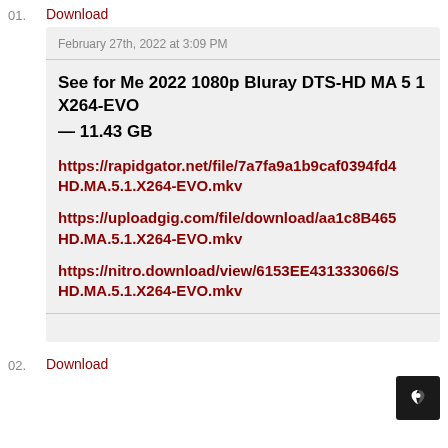01. Download
February 27th, 2022 at 3:09 PM
See for Me 2022 1080p Bluray DTS-HD MA 5 1 X264-EVO
— 11.43 GB
https://rapidgator.net/file/7a7fa9a1b9caf0394fd4
HD.MA.5.1.X264-EVO.mkv
https://uploadgig.com/file/download/aa1c8B465
HD.MA.5.1.X264-EVO.mkv
https://nitro.download/view/6153EE431333066/S
HD.MA.5.1.X264-EVO.mkv
02. Download